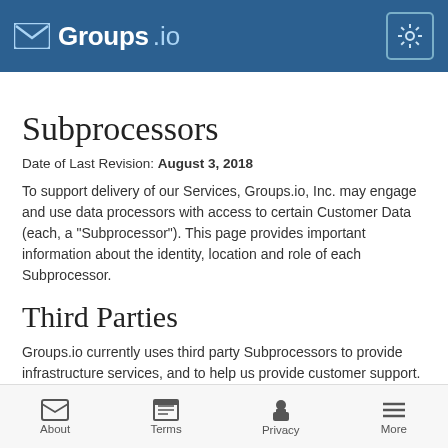Groups.io — navigation bar with logo and settings gear
Subprocessors
Date of Last Revision: August 3, 2018
To support delivery of our Services, Groups.io, Inc. may engage and use data processors with access to certain Customer Data (each, a "Subprocessor"). This page provides important information about the identity, location and role of each Subprocessor.
Third Parties
Groups.io currently uses third party Subprocessors to provide infrastructure services, and to help us provide customer support. Prior to engaging any third party Subprocessor, Groups.io performs
About   Terms   Privacy   More